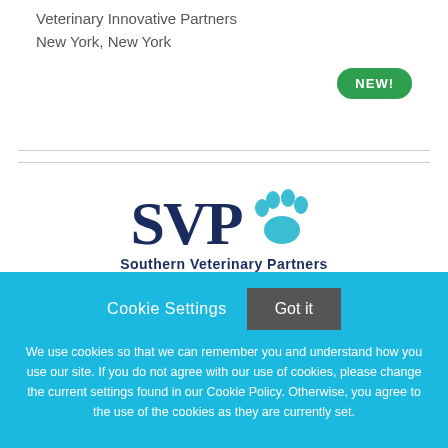Veterinary Innovative Partners
New York, New York
[Figure (logo): SVP Southern Veterinary Partners logo with navy blue SVP text and teal paw print icon]
Cookie Settings   Got it
We use cookies so that we can remember you and understand how you use our site. If you do not agree with our use of cookies, please change the current settings found in our Cookie Policy. Otherwise, you agree to the use of the cookies as they are currently set.